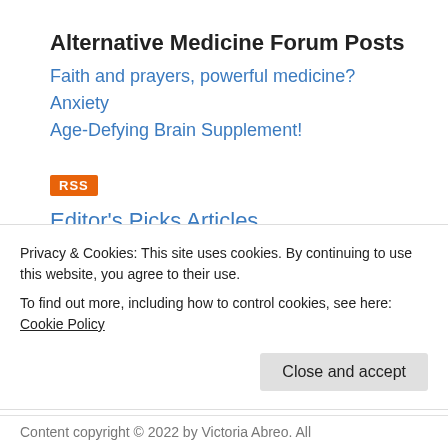Alternative Medicine Forum Posts
Faith and prayers, powerful medicine?
Anxiety
Age-Defying Brain Supplement!
[Figure (other): RSS feed badge icon — orange rectangle with white text 'RSS']
Editor's Picks Articles
Top Ten Articles
Previous Features
Site Map
Privacy & Cookies: This site uses cookies. By continuing to use this website, you agree to their use.
To find out more, including how to control cookies, see here: Cookie Policy
Content copyright © 2022 by Victoria Abreo. All